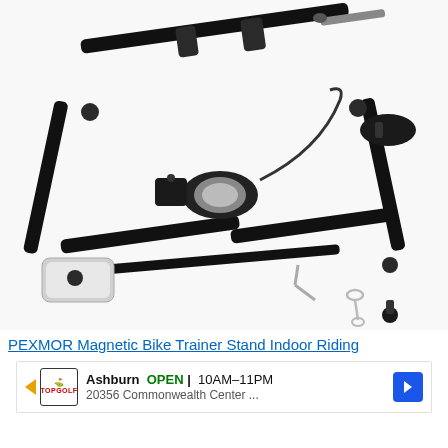[Figure (photo): Product photo of a PEXMOR Magnetic Bike Trainer Stand shown disassembled on a white background, revealing black metal frame components, roller/resistance unit, cable, tools (wrench, hex key), and a white front wheel block.]
PEXMOR Magnetic Bike Trainer Stand Indoor Riding
[Figure (infographic): Advertisement banner for Topgolf at Ashburn showing OPEN 10AM-11PM, address 20356 Commonwealth Center, with left play arrow icon and right blue navigation arrow.]